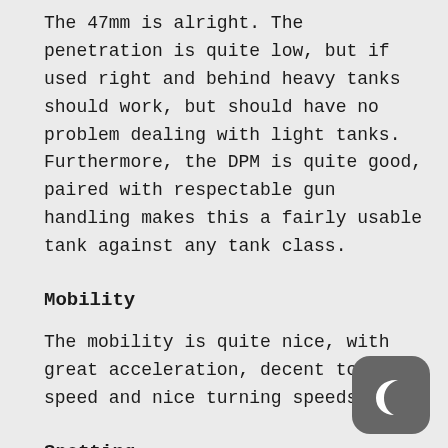The 47mm is alright. The penetration is quite low, but if used right and behind heavy tanks should work, but should have no problem dealing with light tanks. Furthermore, the DPM is quite good, paired with respectable gun handling makes this a fairly usable tank against any tank class.
Mobility
The mobility is quite nice, with great acceleration, decent top speed and nice turning speeds.
Spotting
350m at tier 5 is quite alright, with binos you
[Figure (illustration): Dark grey rounded square icon with a crescent moon symbol in white]